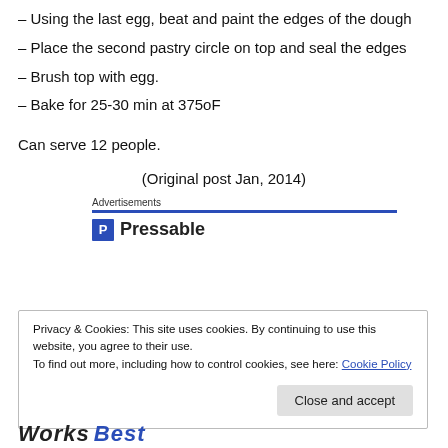– Using the last egg, beat and paint the edges of the dough
– Place the second pastry circle on top and seal the edges
– Brush top with egg.
– Bake for 25-30 min at 375oF
Can serve 12 people.
(Original post Jan, 2014)
Advertisements
[Figure (logo): Pressable logo with blue P icon and text]
Privacy & Cookies: This site uses cookies. By continuing to use this website, you agree to their use.
To find out more, including how to control cookies, see here: Cookie Policy
Close and accept